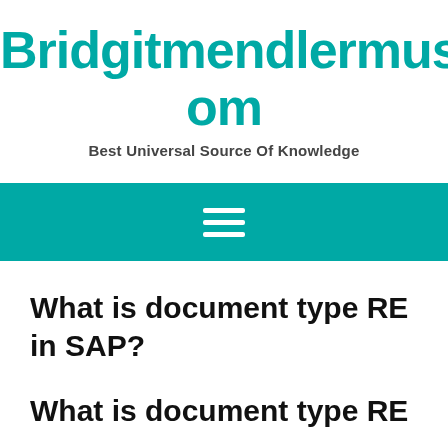Bridgitmendlermusic.Com
Best Universal Source Of Knowledge
[Figure (other): Teal navigation bar with hamburger menu icon (three horizontal white lines)]
What is document type RE in SAP?
What is document type RE